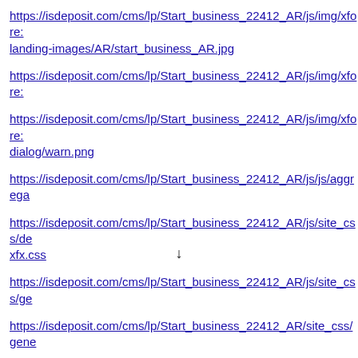https://isdeposit.com/cms/lp/Start_business_22412_AR/js/img/xfore:landing-images/AR/start_business_AR.jpg
https://isdeposit.com/cms/lp/Start_business_22412_AR/js/img/xfore:
https://isdeposit.com/cms/lp/Start_business_22412_AR/js/img/xfore:dialog/warn.png
https://isdeposit.com/cms/lp/Start_business_22412_AR/js/js/aggrega
https://isdeposit.com/cms/lp/Start_business_22412_AR/js/site_css/de:xfx.css
https://isdeposit.com/cms/lp/Start_business_22412_AR/js/site_css/ge
https://isdeposit.com/cms/lp/Start_business_22412_AR/site_css/gene
©
↓